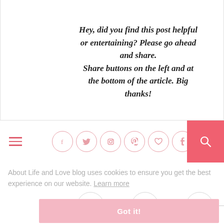Hey, did you find this post helpful or entertaining? Please go ahead and share. Share buttons on the left and at the bottom of the article. Big thanks!
[Figure (other): Navigation bar with hamburger menu icon, social media circle icons (Facebook, Twitter, Instagram, Pinterest, Heart/Bloglovin, Tumblr), and pink search button]
About Life and Love blog uses cookies to ensure you get the best experience on our website. Learn more
[Figure (other): Social share floating buttons: Facebook, Twitter, Pinterest, LinkedIn with connecting lines]
Got it!
LUX G.